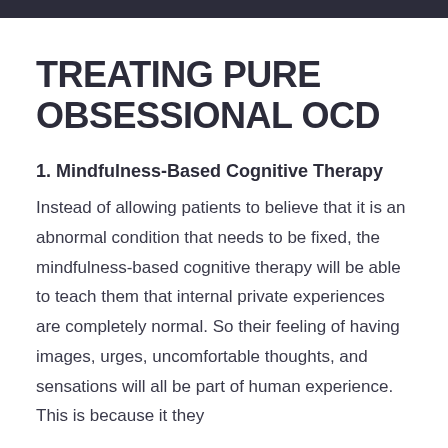[Figure (photo): Dark banner image at the top of the page]
TREATING PURE OBSESSIONAL OCD
1. Mindfulness-Based Cognitive Therapy
Instead of allowing patients to believe that it is an abnormal condition that needs to be fixed, the mindfulness-based cognitive therapy will be able to teach them that internal private experiences are completely normal. So their feeling of having images, urges, uncomfortable thoughts, and sensations will all be part of human experience. This is because it they will also...